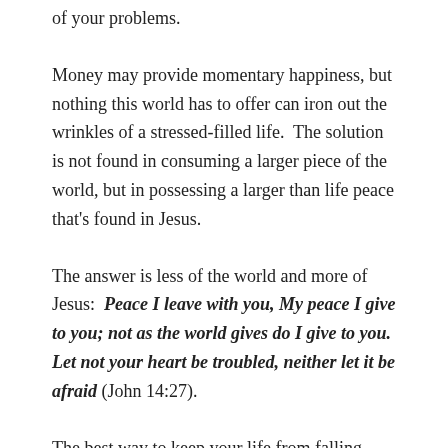of your problems.
Money may provide momentary happiness, but nothing this world has to offer can iron out the wrinkles of a stressed-filled life.  The solution is not found in consuming a larger piece of the world, but in possessing a larger than life peace that's found in Jesus.
The answer is less of the world and more of Jesus:  Peace I leave with you, My peace I give to you; not as the world gives do I give to you. Let not your heart be troubled, neither let it be afraid (John 14:27).
The best way to keep your life from falling apart is to keep it together through the peace of God: